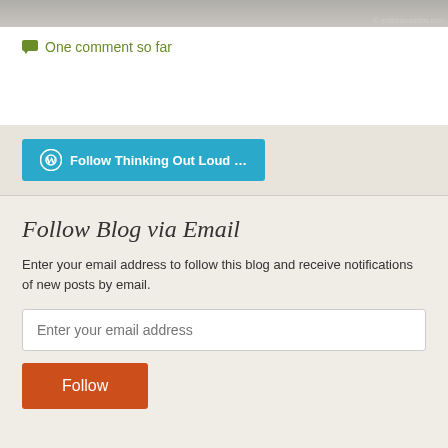[Figure (photo): Partial image strip at top of page with © melindacousins.com credit]
One comment so far
Follow Thinking Out Loud ...
Follow Blog via Email
Enter your email address to follow this blog and receive notifications of new posts by email.
Enter your email address
Follow